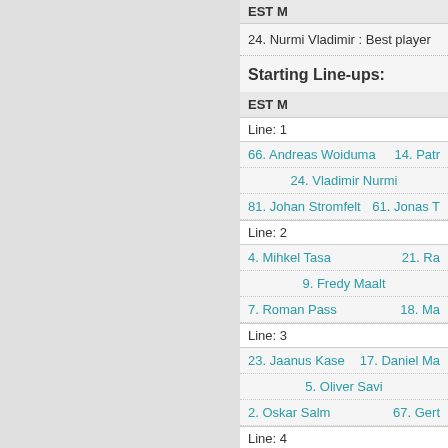EST M
24. Nurmi Vladimir : Best player
Starting Line-ups:
EST M
Line: 1
66. Andreas Woiduma    14. Patr
24. Vladimir Nurmi
81. Johan Stromfelt    61. Jonas T
Line: 2
4. Mihkel Tasa    21. Ra
9. Fredy Maalt
7. Roman Pass    18. Ma
Line: 3
23. Jaanus Kase    17. Daniel Ma
5. Oliver Savi
2. Oskar Salm    67. Gert
Line: 4
64. Kasp
40. Sten Koiv